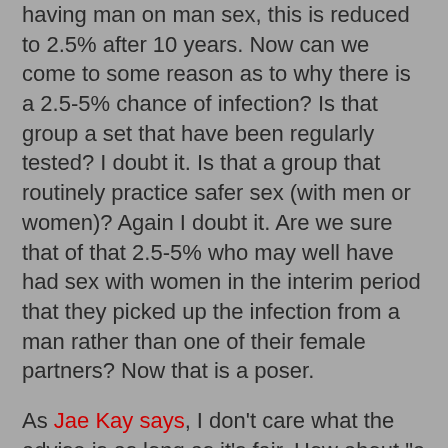having man on man sex, this is reduced to 2.5% after 10 years. Now can we come to some reason as to why there is a 2.5-5% chance of infection? Is that group a set that have been regularly tested? I doubt it. Is that a group that routinely practice safer sex (with men or women)? Again I doubt it. Are we sure that of that 2.5-5% who may well have had sex with women in the interim period that they picked up the infection from a man rather than one of their female partners? Now that is a poser.
As Jae Kay says, I don't care what the advise is as long as it's fair. How about "a gender neutral, sexuality neutral filtering process to replace discrimination with a sensible protection of the quality of the donated blood supply"? Will there be a "day when those who practice safe sex need not fear rejection when offering to donate blood"?
Can we look a bit deeper into the science? How come after a test outside "the window" from when I last had sex the doctors can assure me that I'm not going to be be infected yet the SaBTO think I have to wait 9 years and 9 months longer than that window period?